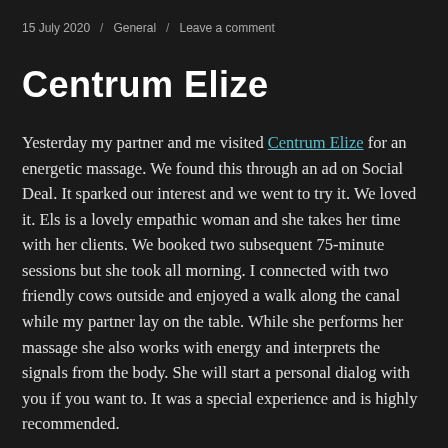15 July 2020 / General / Leave a comment
Centrum Elize
Yesterday my partner and me visited Centrum Elize for an energetic massage. We found this through an ad on Social Deal. It sparked our interest and we went to try it. We loved it. Els is a lovely empathic woman and she takes her time with her clients. We booked two subsequent 75-minute sessions but she took all morning. I connected with two friendly cows outside and enjoyed a walk along the canal while my partner lay on the table. While she performs her massage she also works with energy and interprets the signals from the body. She will start a personal dialog with you if you want to. It was a special experience and is highly recommended.